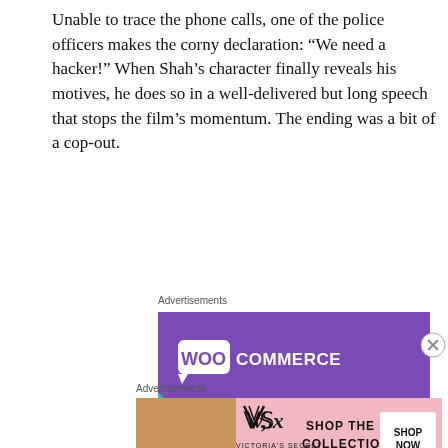Unable to trace the phone calls, one of the police officers makes the corny declaration: “We need a hacker!” When Shah’s character finally reveals his motives, he does so in a well-delivered but long speech that stops the film’s momentum. The ending was a bit of a cop-out.
Advertisements
[Figure (illustration): WooCommerce advertisement banner with purple background showing WooCommerce logo with speech bubble, teal triangle shape on left, blue curved shape on right, text reading 'How to start selling subscriptions online', and a purple button at the bottom.]
Advertisements
[Figure (illustration): Victoria's Secret advertisement banner with pink background showing a woman with curly hair, Victoria's Secret logo (VS), text 'SHOP THE COLLECTION', and a white 'SHOP NOW' button.]